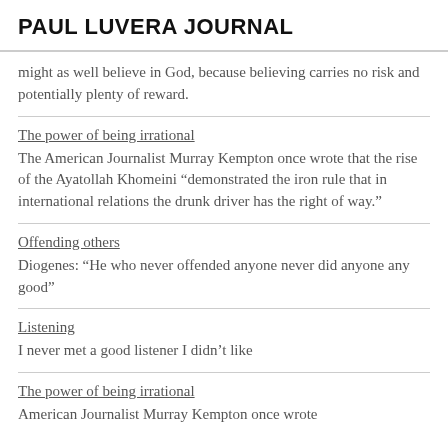PAUL LUVERA JOURNAL
might as well believe in God, because believing carries no risk and potentially plenty of reward.
The power of being irrational
The American Journalist Murray Kempton once wrote that the rise of the Ayatollah Khomeini “demonstrated the iron rule that in international relations the drunk driver has the right of way.”
Offending others
Diogenes: “He who never offended anyone never did anyone any good”
Listening
I never met a good listener I didn’t like
The power of being irrational
American Journalist Murray Kempton once wrote